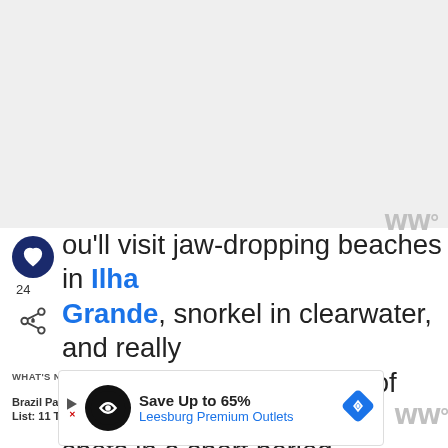[Figure (photo): Top image area placeholder (image not loaded)]
You'll visit jaw-dropping beaches in Ilha Grande, snorkel in clearwater, and really hit the highlights in terms of natural spots in a short period.
24
WHAT'S NEXT → Brazil Packing List: 11 Thin...
[Figure (photo): Thumbnail image for Brazil Packing List article]
[Figure (screenshot): Advertisement banner: Save Up to 65% Leesburg Premium Outlets]